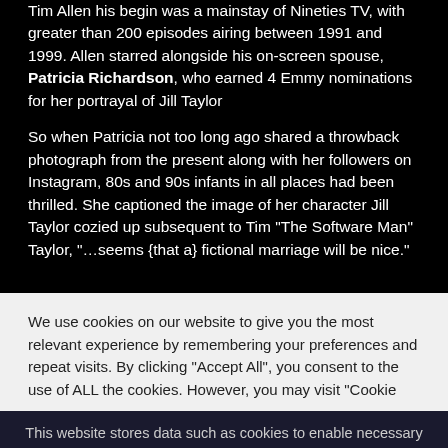Tim Allen his begin was a mainstay of Nineties TV, with greater than 200 episodes airing between 1991 and 1999. Allen starred alongside his on-screen spouse, Patricia Richardson, who earned 4 Emmy nominations for her portrayal of Jill Taylor
So when Patricia not too long ago shared a throwback photograph from the present along with her followers on Instagram, 80s and 90s infants in all places had been thrilled. She captioned the image of her character Jill Taylor cozied up subsequent to Tim "The Software Man" Taylor, "…seems {that a} fictional marriage will be nice."
We use cookies on our website to give you the most relevant experience by remembering your preferences and repeat visits. By clicking "Accept All", you consent to the use of ALL the cookies. However, you may visit "Cookie
This website stores data such as cookies to enable necessary site functionality, including analytics, targeting, and personalization. By remaining on this website you indicate your consent Cookie Policy